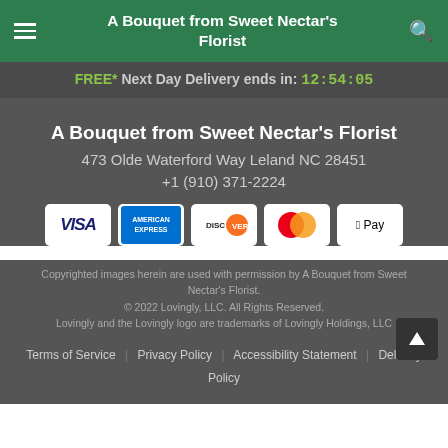A Bouquet from Sweet Nectar's Florist
FREE* Next Day Delivery ends in: 12:54:05
A Bouquet from Sweet Nectar's Florist
473 Olde Waterford Way Leland NC 28451
+1 (910) 371-2224
[Figure (other): Payment method icons: Visa, American Express, Discover, Mastercard, Apple Pay]
Copyrighted images herein are used with permission by A Bouquet from Sweet Nectar's Florist.
© 2022 Lovingly, LLC. All Rights Reserved.
Lovingly and the Lovingly logo are trademarks of Lovingly Holdings, LLC
Terms of Service | Privacy Policy | Accessibility Statement | Delivery Policy